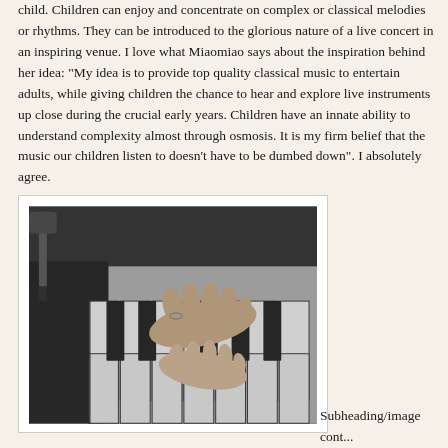child. Children can enjoy and concentrate on complex or classical melodies or rhythms. They can be introduced to the glorious nature of a live concert in an inspiring venue. I love what Miaomiao says about the inspiration behind her idea: "My idea is to provide top quality classical music to entertain adults, while giving children the chance to hear and explore live instruments up close during the crucial early years. Children have an innate ability to understand complexity almost through osmosis. It is my firm belief that the music our children listen to doesn't have to be dumbed down". I absolutely agree.
[Figure (photo): Black and white photograph of two pairs of hands playing piano keys together, shot from above at a close angle]